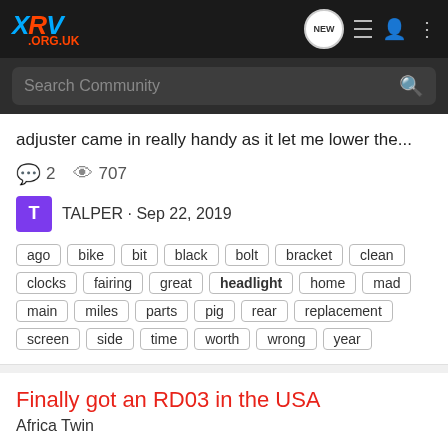XRV.ORG.UK
Search Community
adjuster came in really handy as it let me lower the...
2 replies, 707 views
T ALPER · Sep 22, 2019
ago bike bit black bolt bracket clean clocks fairing great headlight home mad main miles parts pig rear replacement screen side time worth wrong year
Finally got an RD03 in the USA
Africa Twin
After years of waiting (and converting my Transalp to as close to a RD04 as possible) I've finally got an RD03 here in the States. It's an early one with 0000996 serial number and